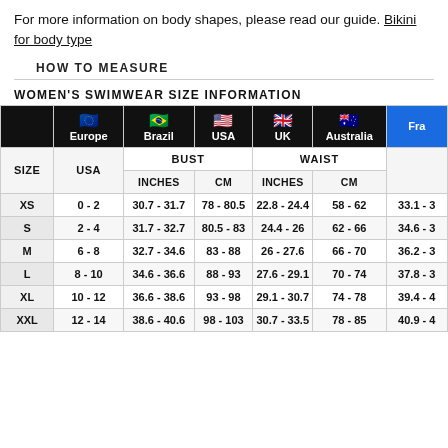For more information on body shapes, please read our guide. Bikini for body type
HOW TO MEASURE
WOMEN'S SWIMWEAR SIZE INFORMATION
|  | Europe | Brazil | USA | UK | Australia | Fra... |
| --- | --- | --- | --- | --- | --- | --- |
| SIZE | USA | BUST INCHES | BUST CM | WAIST INCHES | WAIST CM | INCHE... |
| XS | 0 - 2 | 30.7 - 31.7 | 78 - 80.5 | 22.8 - 24.4 | 58 - 62 | 33.1 - 3... |
| S | 2 - 4 | 31.7 - 32.7 | 80.5 - 83 | 24.4 - 26 | 62 - 66 | 34.6 - 3... |
| M | 6 - 8 | 32.7 - 34.6 | 83 - 88 | 26 - 27.6 | 66 - 70 | 36.2 - 3... |
| L | 8 - 10 | 34.6 - 36.6 | 88 - 93 | 27.6 - 29.1 | 70 - 74 | 37.8 - 3... |
| XL | 10 - 12 | 36.6 - 38.6 | 93 - 98 | 29.1 - 30.7 | 74 - 78 | 39.4 - 4... |
| XXL | 12 - 14 | 38.6 - 40.6 | 98 - 103 | 30.7 - 33.5 | 78 - 85 | 40.9 - 4... |